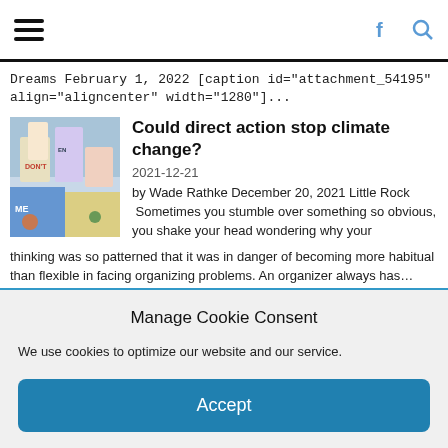Dreams February 1, 2022 [caption id="attachment_54195" align="aligncenter" width="1280"]...
Could direct action stop climate change?
2021-12-21
by Wade Rathke December 20, 2021 Little Rock  Sometimes you stumble over something so obvious, you shake your head wondering why your thinking was so patterned that it was in danger of becoming more habitual than flexible in facing organizing problems. An organizer always has…
Global climate disasters – This is not the new normal
Manage Cookie Consent
We use cookies to optimize our website and our service.
Accept